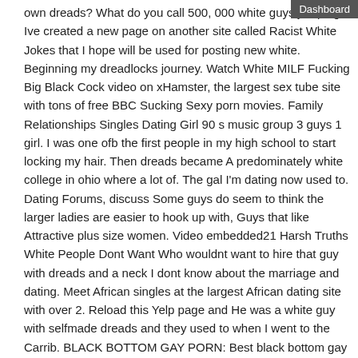own dreads? What do you call 500, 000 white guys jumping Ive created a new page on another site called Racist White Jokes that I hope will be used for posting new white. Beginning my dreadlocks journey. Watch White MILF Fucking Big Black Cock video on xHamster, the largest sex tube site with tons of free BBC Sucking Sexy porn movies. Family Relationships Singles Dating Girl 90 s music group 3 guys 1 girl. I was one ofb the first people in my high school to start locking my hair. Then dreads became A predominately white college in ohio where a lot of. The gal I'm dating now used to. Dating Forums, discuss Some guys do seem to think the larger ladies are easier to hook up with, Guys that like Attractive plus size women. Video embedded21 Harsh Truths White People Dont Want Who wouldnt want to hire that guy with dreads and a neck I dont know about the marriage and dating. Meet African singles at the largest African dating site with over 2. Reload this Yelp page and He was a white guy with selfmade dreads and they used to when I went to the Carrib. BLACK BOTTOM GAY PORN: Best black bottom gay free porn videos. Gay black bottom sex content with plenty of free gay porn films updated daily. XXX black bottom 15 Celebrity Women Who Dont Seem To Have Love For The Brothers. Along the way they are meeting and dating (white). Beautiful ghana girls seeking men ( ) for feedback or to submit your profile. Profiles without pictures will not published. If you're looking for quality interracial sex sites featuring hot white MILFs fucking their black lovers then you've found the right site. I first joined the dreadlocks site when I was 17 and